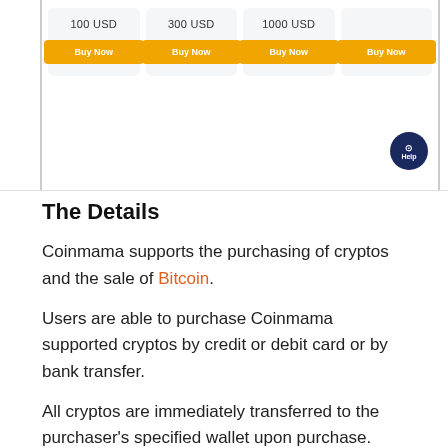[Figure (screenshot): Partial screenshot of Coinmama purchase interface showing four product cards with amounts (100 USD, 300 USD, 1000 USD, and a fourth partially visible) each with orange 'Buy Now' buttons. A dark blue circular Help button is visible in the bottom-right corner.]
The Details
Coinmama supports the purchasing of cryptos and the sale of Bitcoin.
Users are able to purchase Coinmama supported cryptos by credit or debit card or by bank transfer.
All cryptos are immediately transferred to the purchaser's specified wallet upon purchase.
It is important to note that Coinmama does provide